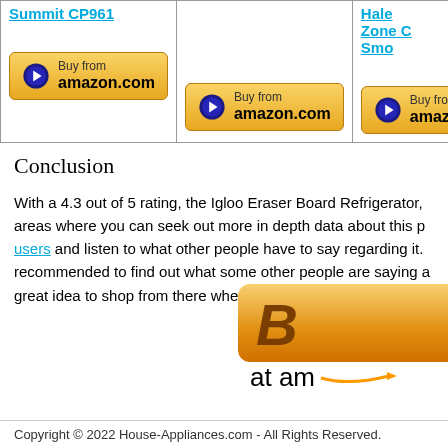| Product 1 | Product 2 | Product 3 |
| --- | --- | --- |
| Summit CP961 |  | Hale Zone C Smo... |
| Buy from amazon.com | Buy from amazon.com | Buy from amazon.com |
Conclusion
With a 4.3 out of 5 rating, the Igloo Eraser Board Refrigerator, areas where you can seek out more in depth data about this p... users and listen to what other people have to say regarding it. recommended to find out what some other people are saying a... great idea to shop from there whenever you need anything.
[Figure (other): Large Buy from Amazon button partially visible at bottom right]
Copyright © 2022 House-Appliances.com - All Rights Reserved.